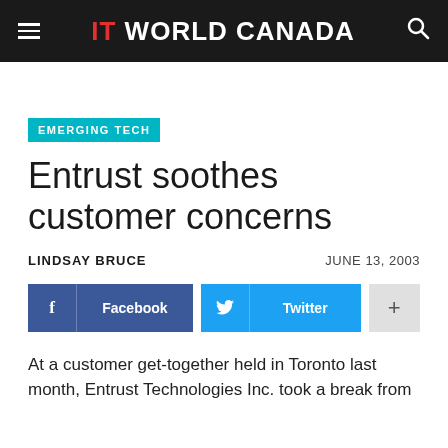IT WORLD CANADA
EMERGING TECH
Entrust soothes customer concerns
LINDSAY BRUCE   JUNE 13, 2003
Facebook   Twitter   +
At a customer get-together held in Toronto last month, Entrust Technologies Inc. took a break from